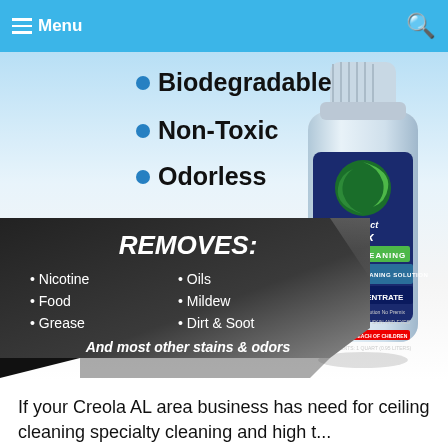Menu
Phosphate Free
Biodegradable
Non-Toxic
Odorless
[Figure (photo): Product infographic showing a curved black/silver banner with REMOVES: Nicotine, Food, Grease, Oils, Mildew, Dirt & Soot, and a PerfectMix Green Cleaning ceiling & wall cleaning solution bottle]
If your Creola AL area business has need for ceiling cleaning specialty cleaning and high t...